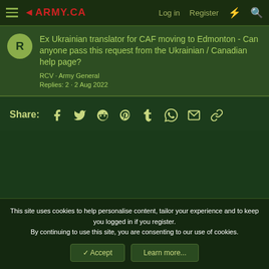army.ca — Log in  Register
Ex Ukrainian translator for CAF moving to Edmonton - Can anyone pass this request from the Ukrainian / Canadian help page?
RCV · Army General
Replies: 2 · 2 Aug 2022
Share:
This site uses cookies to help personalise content, tailor your experience and to keep you logged in if you register.
By continuing to use this site, you are consenting to our use of cookies.